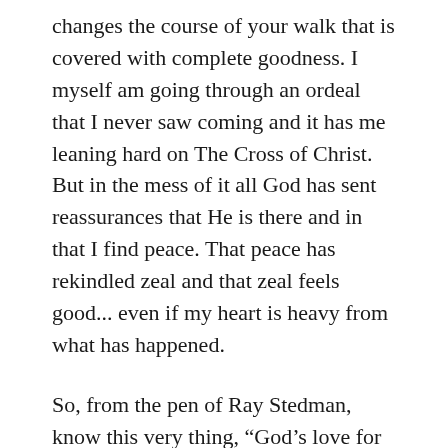changes the course of your walk that is covered with complete goodness. I myself am going through an ordeal that I never saw coming and it has me leaning hard on The Cross of Christ. But in the mess of it all God has sent reassurances that He is there and in that I find peace. That peace has rekindled zeal and that zeal feels good... even if my heart is heavy from what has happened.
So, from the pen of Ray Stedman, know this very thing, “God’s love for us does not tolerate pretense and external worship. Do we gratefully acknowledge His wake-up calls as His loving pursuit?” If you have